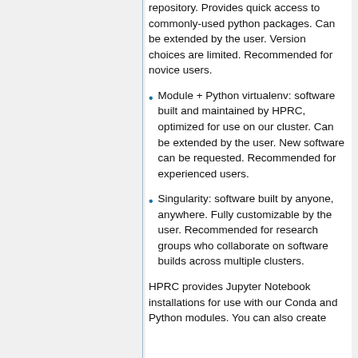repository. Provides quick access to commonly-used python packages. Can be extended by the user. Version choices are limited. Recommended for novice users.
Module + Python virtualenv: software built and maintained by HPRC, optimized for use on our cluster. Can be extended by the user. New software can be requested. Recommended for experienced users.
Singularity: software built by anyone, anywhere. Fully customizable by the user. Recommended for research groups who collaborate on software builds across multiple clusters.
HPRC provides Jupyter Notebook installations for use with our Conda and Python modules. You can also create